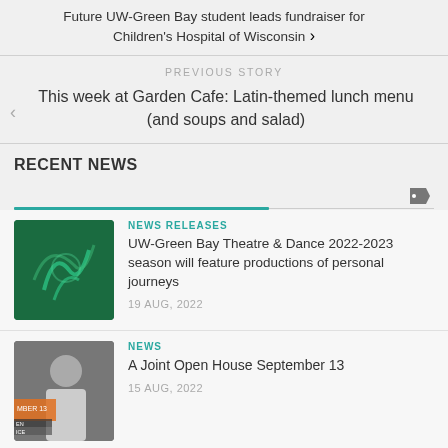Future UW-Green Bay student leads fundraiser for Children's Hospital of Wisconsin
PREVIOUS STORY
This week at Garden Cafe: Latin-themed lunch menu (and soups and salad)
RECENT NEWS
[Figure (other): Tag/label icon]
NEWS RELEASES
[Figure (illustration): UW-Green Bay logo thumbnail on dark green background]
UW-Green Bay Theatre & Dance 2022-2023 season will feature productions of personal journeys
19 AUG, 2022
NEWS
[Figure (photo): Photo thumbnail showing a person, with text overlay including partial text]
A Joint Open House September 13
15 AUG, 2022